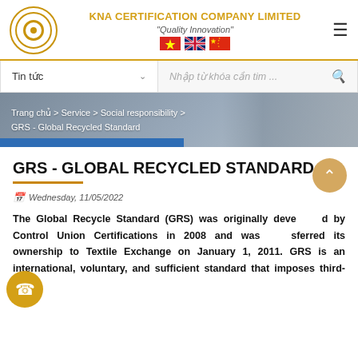KNA CERTIFICATION COMPANY LIMITED "Quality Innovation"
Tin tức
Nhập từ khóa cần tim ...
Trang chủ > Service > Social responsibility > GRS - Global Recycled Standard
GRS - GLOBAL RECYCLED STANDARD
Wednesday, 11/05/2022
The Global Recycle Standard (GRS) was originally developed by Control Union Certifications in 2008 and was transferred its ownership to Textile Exchange on January 1, 2011. GRS is an international, voluntary, and sufficient standard that imposes third-party